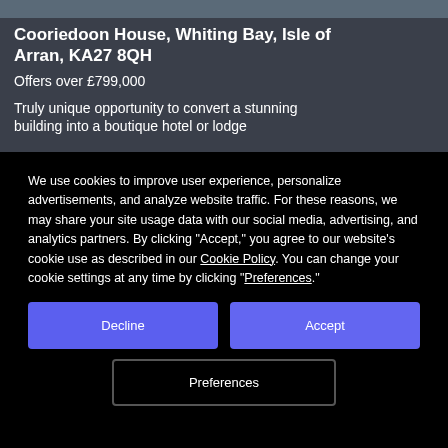[Figure (photo): Aerial or exterior photo of property — partially visible as a dark blue/grey strip at the top of the page]
Cooriedoon House, Whiting Bay, Isle of Arran, KA27 8QH
Offers over £799,000
Truly unique opportunity to convert a stunning building into a boutique hotel or lodge
We use cookies to improve user experience, personalize advertisements, and analyze website traffic. For these reasons, we may share your site usage data with our social media, advertising, and analytics partners. By clicking "Accept," you agree to our website's cookie use as described in our Cookie Policy. You can change your cookie settings at any time by clicking "Preferences."
Decline
Accept
Preferences